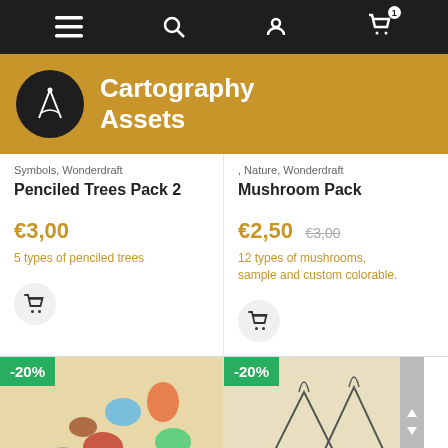Navigation bar with menu, search, account, and cart (1 item) icons
Cartography Assets
Symbols, Wonderdraft
Penciled Trees Pack 2
€3,00
5 types of penciled trees
, Nature, Wonderdraft
Mushroom Pack
€2,50  €3,00
12 types of mushrooms, sample and custom colorable.
[Figure (illustration): Product image showing pixel-art fantasy sea creatures including octopus, crab and other monsters on a parchment background, with -20% discount badge]
[Figure (illustration): Product image showing hand-drawn volcano/mountain illustrations on a parchment background, with -20% discount badge]